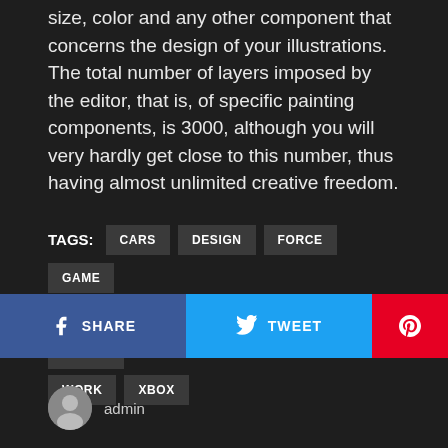size, color and any other component that concerns the design of your illustrations. The total number of layers imposed by the editor, that is, of specific painting components, is 3000, although you will very hardly get close to this number, thus having almost unlimited creative freedom.
TAGS: CARS  DESIGN  FORCE  GAME  GAMES  HORIZON  PLAYGROUND  SERIES  WORK  XBOX
[Figure (infographic): Social sharing buttons: SHARE (Facebook, blue), TWEET (Twitter, light blue), Pinterest (red)]
admin